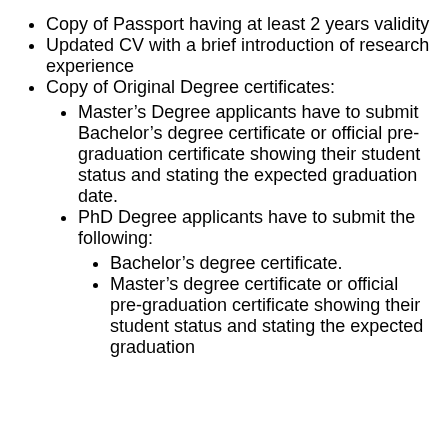Copy of Passport having at least 2 years validity
Updated CV with a brief introduction of research experience
Copy of Original Degree certificates:
Master's Degree applicants have to submit Bachelor's degree certificate or official pre-graduation certificate showing their student status and stating the expected graduation date.
PhD Degree applicants have to submit the following:
Bachelor's degree certificate.
Master's degree certificate or official pre-graduation certificate showing their student status and stating the expected graduation